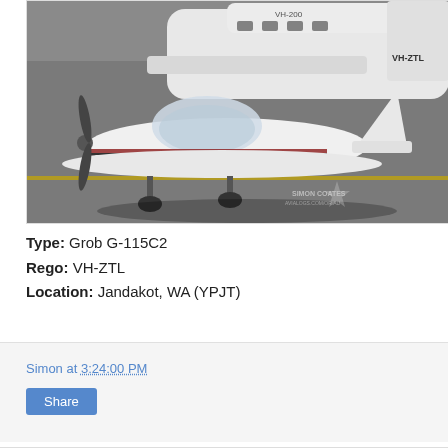[Figure (photo): A white Grob G-115C2 small propeller aircraft with registration VH-ZTL taxiing on an airport apron at Jandakot, WA. A larger white multi-engine aircraft is visible in the background. A watermark reads 'SIMON COATES' in the bottom right corner.]
Type: Grob G-115C2
Rego: VH-ZTL
Location: Jandakot, WA (YPJT)
Simon at 3:24:00 PM
Share